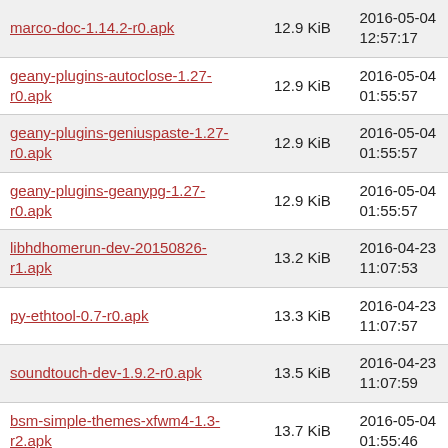| Filename | Size | Date/Time |
| --- | --- | --- |
| marco-doc-1.14.2-r0.apk | 12.9 KiB | 2016-05-04 12:57:17 |
| geany-plugins-autoclose-1.27-r0.apk | 12.9 KiB | 2016-05-04 01:55:57 |
| geany-plugins-geniuspaste-1.27-r0.apk | 12.9 KiB | 2016-05-04 01:55:57 |
| geany-plugins-geanypg-1.27-r0.apk | 12.9 KiB | 2016-05-04 01:55:57 |
| libhdhomerun-dev-20150826-r1.apk | 13.2 KiB | 2016-04-23 11:07:53 |
| py-ethtool-0.7-r0.apk | 13.3 KiB | 2016-04-23 11:07:57 |
| soundtouch-dev-1.9.2-r0.apk | 13.5 KiB | 2016-04-23 11:07:59 |
| bsm-simple-themes-xfwm4-1.3-r2.apk | 13.7 KiB | 2016-05-04 01:55:46 |
| libexttextcat-dev-3.4.4-r0.apk | 13.8 KiB | 2016-05-19 04:58:19 |
| rsound-client-1.1-r4.apk | 13.8 KiB | 2016-05-04 01:56:17 |
| bsm-simple-themes-metacity-1.3-r2.apk | 14.1 KiB | 2016-05-04 01:55:46 |
| mate-sensors-applet-doc- | 14.6 KiB | 2016-05-04 |